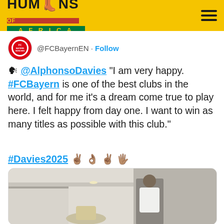HUMANS OF AFRICA
@FCBayernEN · Follow
🗣 @AlphonsoDavies "I am very happy. #FCBayern is one of the best clubs in the world, and for me it's a dream come true to play here. I felt happy from day one. I want to win as many titles as possible with this club."
#Davies2025 ✌ 👌 ✌ 🖐
[Figure (photo): Alphonso Davies in FC Bayern white polo shirt holding a trophy]